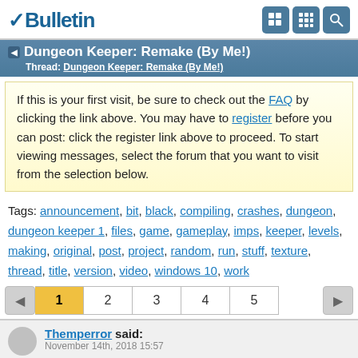vBulletin
Dungeon Keeper: Remake (By Me!)
Thread: Dungeon Keeper: Remake (By Me!)
If this is your first visit, be sure to check out the FAQ by clicking the link above. You may have to register before you can post: click the register link above to proceed. To start viewing messages, select the forum that you want to visit from the selection below.
Tags: announcement, bit, black, compiling, crashes, dungeon, dungeon keeper 1, files, game, gameplay, imps, keeper, levels, making, original, post, project, random, run, stuff, texture, thread, title, version, video, windows 10, work
Themperror said:
November 14th, 2018 15:57